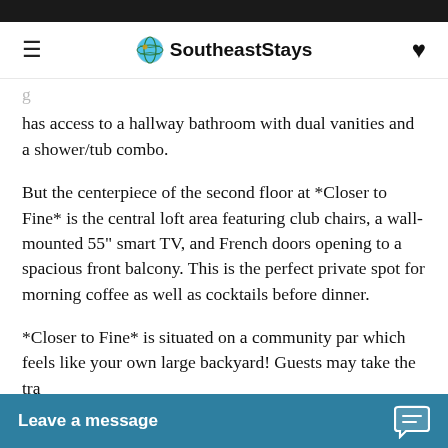SoutheastStays
has access to a hallway bathroom with dual vanities and a shower/tub combo.
But the centerpiece of the second floor at *Closer to Fine* is the central loft area featuring club chairs, a wall-mounted 55" smart TV, and French doors opening to a spacious front balcony. This is the perfect private spot for morning coffee as well as cocktails before dinner.
*Closer to Fine* is situated on a community par which feels like your own large backyard! Guests may take the tra